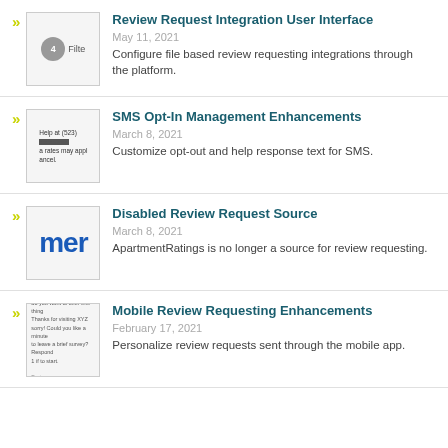Review Request Integration User Interface
May 11, 2021
Configure file based review requesting integrations through the platform.
SMS Opt-In Management Enhancements
March 8, 2021
Customize opt-out and help response text for SMS.
Disabled Review Request Source
March 8, 2021
ApartmentRatings is no longer a source for review requesting.
Mobile Review Requesting Enhancements
February 17, 2021
Personalize review requests sent through the mobile app.